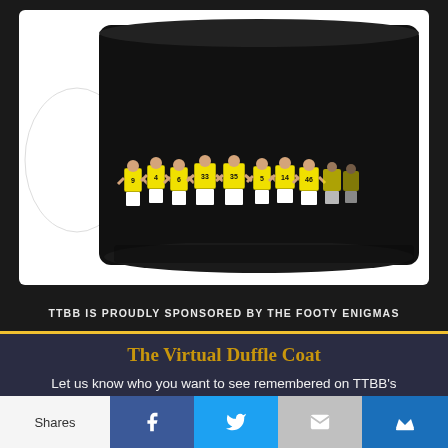[Figure (photo): Black coffee mug with yellow and white sports team figures wearing numbered jerseys (9, 4, 6, 33, 35, 5, 14, 46) standing in a row, arms around each other, on a white background]
TTBB IS PROUDLY SPONSORED BY THE FOOTY ENIGMAS
The Virtual Duffle Coat
Let us know who you want to see remembered on TTBB's duffle coat. Email or Tweet Chris and he'll create a badge
Shares | Facebook | Twitter | Email | Crown